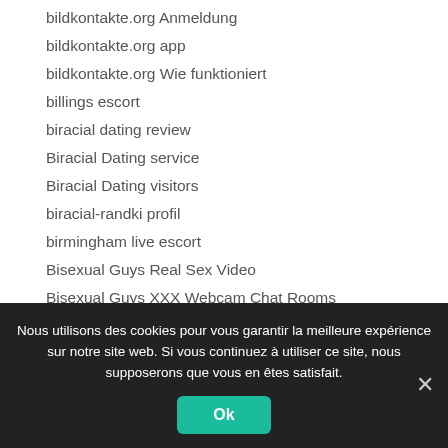bildkontakte.org Anmeldung
bildkontakte.org app
bildkontakte.org Wie funktioniert
billings escort
biracial dating review
Biracial Dating service
Biracial Dating visitors
biracial-randki profil
birmingham live escort
Bisexual Guys Real Sex Video
Bisexual Guys XXX Webcam Chat Rooms
Nous utilisons des cookies pour vous garantir la meilleure expérience sur notre site web. Si vous continuez à utiliser ce site, nous supposerons que vous en êtes satisfait.
Ok